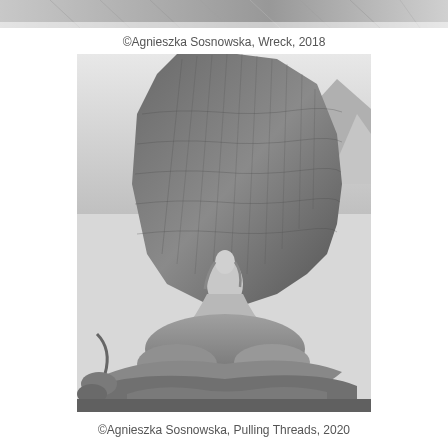[Figure (photo): Partial top of a black and white artwork photograph by Agnieszka Sosnowska, Wreck, 2018 — only the bottom strip of the image is visible at the top of the page.]
©Agnieszka Sosnowska, Wreck, 2018
[Figure (photo): Black and white photograph by Agnieszka Sosnowska titled 'Pulling Threads, 2020'. A figure sits atop a large mound of draped fabric or netting in an outdoor landscape with mountains in the background.]
©Agnieszka Sosnowska, Pulling Threads, 2020